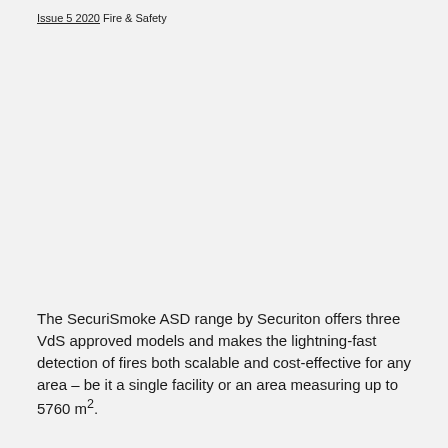Issue 5 2020 Fire & Safety
The SecuriSmoke ASD range by Securiton offers three VdS approved models and makes the lightning-fast detection of fires both scalable and cost-effective for any area – be it a single facility or an area measuring up to 5760 m².